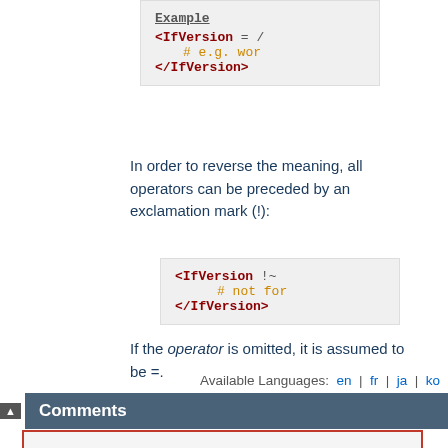[Figure (screenshot): Code box showing IfVersion directive with truncated code lines: <IfVersion = /, # e.g. wor, </IfVersion>]
In order to reverse the meaning, all operators can be preceded by an exclamation mark (!):
[Figure (screenshot): Code box showing: <IfVersion !~ / # not for </IfVersion>]
If the operator is omitted, it is assumed to be =.
Available Languages: en | fr | ja | ko
Comments
Notice: This is not a Q&A section. Comments placed here should be pointed towards suggestions on improving the documentation or server, and may be removed again by our moderators if they are